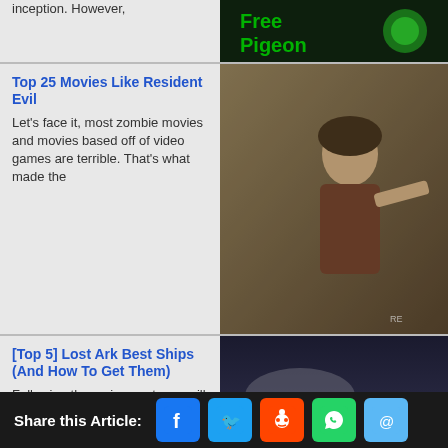inception. However,
Top 25 Movies Like Resident Evil
Let's face it, most zombie movies and movies based off of video games are terrible. That's what made the
[Figure (photo): Woman in action pose holding weapon, Resident Evil movie still]
[Top 5] Lost Ark Best Ships (And How To Get Them)
Following the main quest, you will get three ships around mid-level 30. Ships are used for
[Figure (photo): Sailing ship in stormy seas, Lost Ark game screenshot]
The Outer Worlds 2022 Review - Is It Good or Bad?
Does The Outer Worlds still hold up? This will be a review of the PC version of The Outer
[Figure (photo): The Outer Worlds game cover art with character standing on alien landscape]
The Wolf Among Us Best Choices Guide
Share this Article: